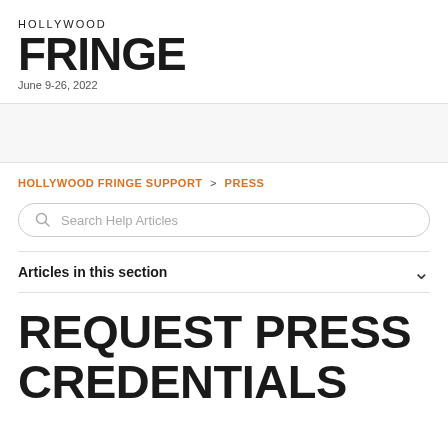HOLLYWOOD FRINGE June 9-26, 2022
HOLLYWOOD FRINGE SUPPORT > PRESS
Search Help Articles
Articles in this section
REQUEST PRESS CREDENTIALS